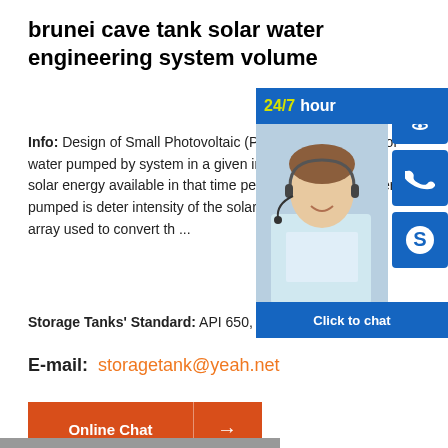brunei cave tank solar water engineering system volume
Info: Design of Small Photovoltaic (PV WaterThe volume of water pumped by system in a given interval depends one solar energy available in that time per flow rate of the water pumped is deter intensity of the solar energy available PV array used to convert th ...
Storage Tanks' Standard: API 650, AP AWWA+D100-2011
E-mail:  storagetank@yeah.net
[Figure (infographic): 24/7 hour support banner with headset icon, phone icon, Skype icon, and Click to chat bar, alongside a photo of a customer service representative]
[Figure (other): Online Chat button with orange background and arrow]